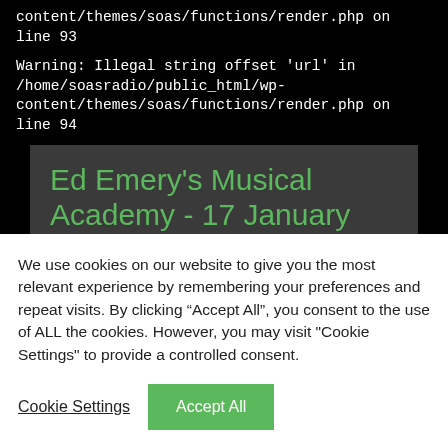content/themes/soas/functions/render.php on line 93
Warning: Illegal string offset 'url' in /home/soasradio/public_html/wp-content/themes/soas/functions/render.php on line 94
Ed Emery's Musical Academy - 17 January 2017
Tue, 2017-01-17 16:20
This is the first in a series of lectures
We use cookies on our website to give you the most relevant experience by remembering your preferences and repeat visits. By clicking “Accept All”, you consent to the use of ALL the cookies. However, you may visit "Cookie Settings" to provide a controlled consent.
Cookie Settings
Accept All